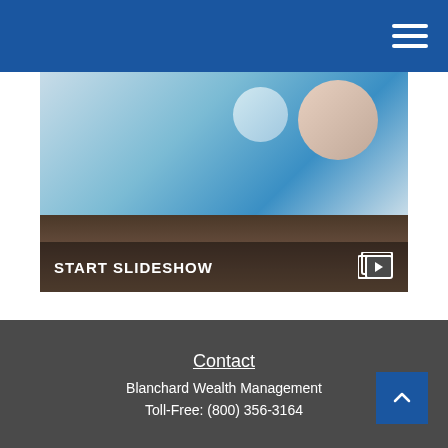Navigation bar with hamburger menu
[Figure (screenshot): Slideshow thumbnail showing a laptop screen with people working, dark bezel, wooden surface. Overlay text: START SLIDESHOW with slideshow icon.]
5 Smart Investing Strategies
Getting what you want out of your money may require the right game plan.
Contact
Blanchard Wealth Management
Toll-Free: (800) 356-3164